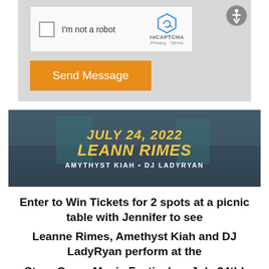[Figure (screenshot): reCAPTCHA widget with checkbox labeled 'I'm not a robot' and reCAPTCHA logo with Privacy and Terms links]
Send Message
[Figure (photo): Concert banner showing 'JULY 24, 2022 LEANN RIMES AMYTHYST KIAH • DJ LADYRYAN' over a crowd at an outdoor music festival]
Enter to Win Tickets for 2 spots at a picnic table with Jennifer to see
Leanne Rimes, Amethyst Kiah and DJ LadyRyan perform at the
Stern Grove Music Festival on July 24th!
Hi everyone! I have decided to reserve a